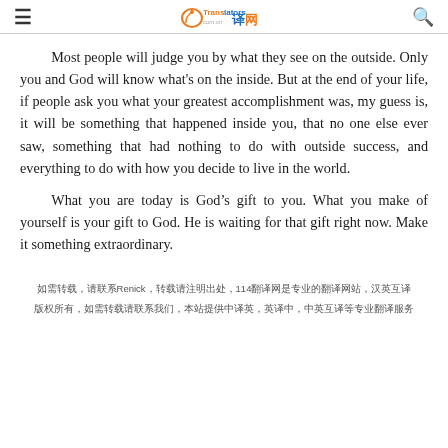≡   Translators 译网   🔍
Most people will judge you by what they see on the outside. Only you and God will know what's on the inside. But at the end of your life, if people ask you what your greatest accomplishment was, my guess is, it will be something that happened inside you, that no one else ever saw, something that had nothing to do with outside success, and everything to do with how you decide to live in the world.
What you are today is God's gift to you. What you make of yourself is your gift to God. He is waiting for that gift right now. Make it something extraordinary.
如需转载，请联系Renick，转载请注明出处，114翻译网是专业的翻译网站，汉英互译
版权所有，如需转载请联系我们，本站提供中译英，英译中，中英互译等专业翻译服务